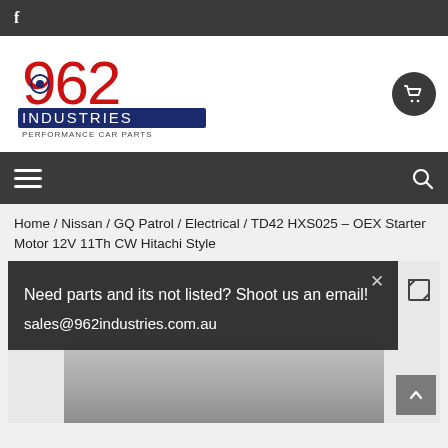f
[Figure (logo): 962 Industries Performance Car Parts logo — red and blue stylized text with a turbocharger wheel graphic]
[Figure (other): Shopping cart icon in dark circular button]
[Figure (other): Hamburger menu icon (three horizontal lines) and search magnifying glass icon on dark nav bar]
Home / Nissan / GQ Patrol / Electrical / TD42 HXS025 – OEX Starter Motor 12V 11Th CW Hitachi Style
Need parts and its not listed? Shoot us an email!
sales@962industries.com.au
[Figure (photo): Partial view of a starter motor (Hitachi style) in grey/silver metal]